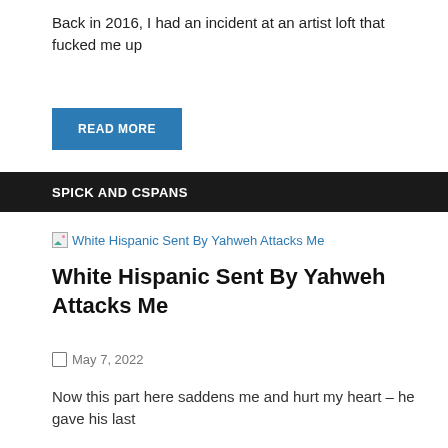Back in 2016, I had an incident at an artist loft that fucked me up
READ MORE
SPICK AND CSPANS
[Figure (other): Broken image thumbnail link: White Hispanic Sent By Yahweh Attacks Me]
White Hispanic Sent By Yahweh Attacks Me
May 7, 2022
Now this part here saddens me and hurt my heart – he gave his last
READ MORE